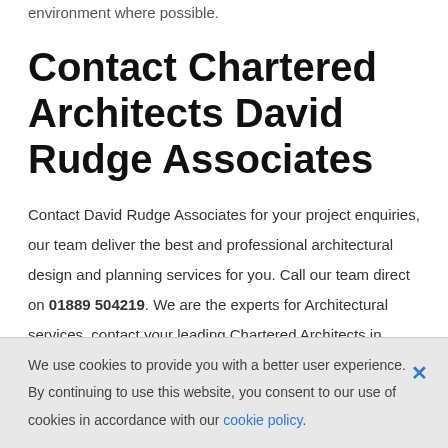environment where possible.
Contact Chartered Architects David Rudge Associates
Contact David Rudge Associates for your project enquiries, our team deliver the best and professional architectural design and planning services for you. Call our team direct on 01889 504219. We are the experts for Architectural services, contact your leading Chartered Architects in Staffordshire today, our team will be happy to consult with your upcoming project requirements.
We use cookies to provide you with a better user experience. By continuing to use this website, you consent to our use of cookies in accordance with our cookie policy.